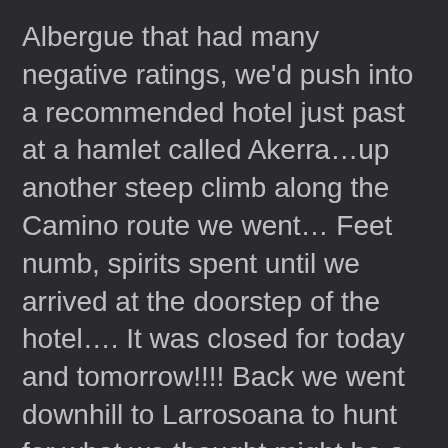Albergue that had many negative ratings, we'd push into a recommended hotel just past at a hamlet called Akerra…up another steep climb along the Camino route we went… Feet numb, spirits spent until we arrived at the doorstep of the hotel…. It was closed for today and tomorrow!!!! Back we went downhill to Larrosoana to hunt for what we thought might be a cattle shed at this late hour!!!
To our delight, the Albergue El Camino had a room for the three of us… Clean sheets, fluffy white towels… Ab the minimum d